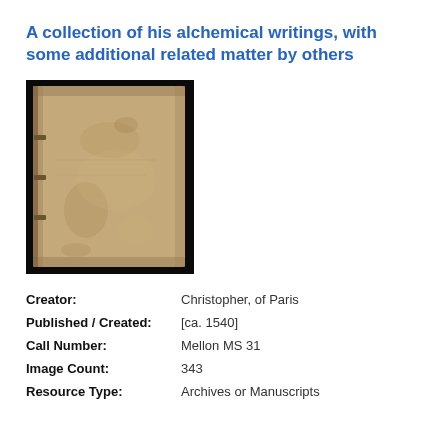A collection of his alchemical writings, with some additional related matter by others
[Figure (photo): Photograph of the cover of an old manuscript book with worn tan/beige binding, against a black background.]
| Creator: | Christopher, of Paris |
| Published / Created: | [ca. 1540] |
| Call Number: | Mellon MS 31 |
| Image Count: | 343 |
| Resource Type: | Archives or Manuscripts |